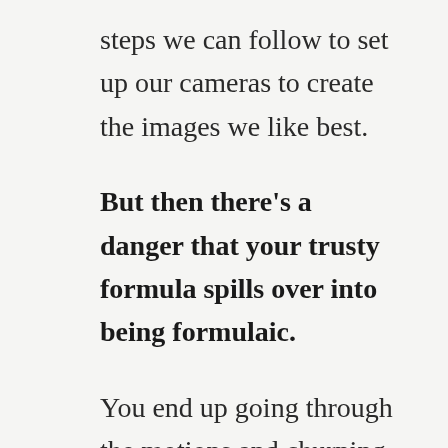steps we can follow to set up our cameras to create the images we like best.
But then there's a danger that your trusty formula spills over into being formulaic.
You end up going through the motions and churning out near identical photographs time after